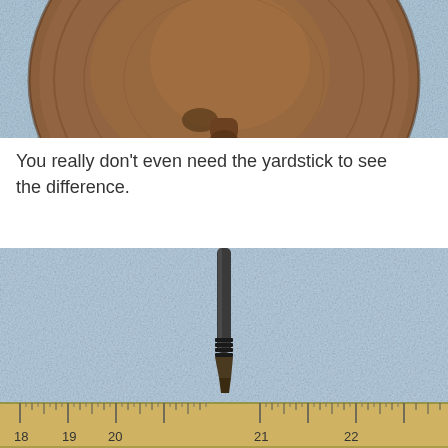[Figure (photo): Close-up photograph of the bottom/base of a wooden object (appears to be a violin or similar instrument scroll/peg), showing wood grain texture and a small protrusion, placed on a blue fuzzy cloth background.]
You really don't even need the yardstick to see the difference.
[Figure (photo): Photograph of a thin metal rod or pin (possibly a violin peg or instrument part) standing vertically on a yardstick/ruler, placed on a blue fuzzy cloth background. The ruler shows measurements around 18 to 22 inches.]